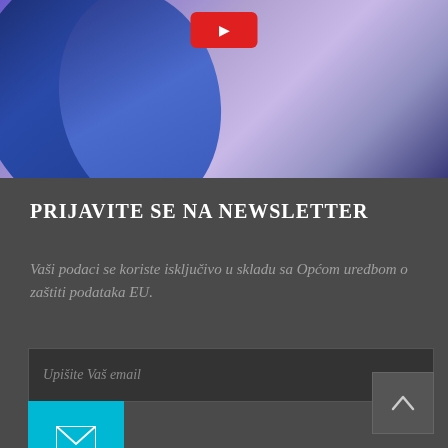[Figure (photo): Screenshot of a website section with a purple/blue gradient banner image at top with a red play button, followed by a dark grey newsletter signup section]
PRIJAVITE SE NA NEWSLETTER
Vaši podaci se koriste isključivo u skladu sa Općom uredbom o zaštiti podataka EU.
Upišite Vaš email